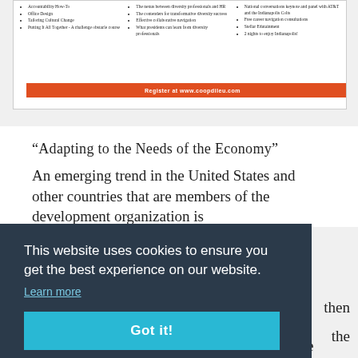[Figure (infographic): Conference or event brochure banner with three columns of bullet points listing topics/sessions, with an orange registration bar at the bottom reading 'Register at www.coopdileu.com']
“Adapting to the Needs of the Economy”
An emerging trend in the United States and other countries that are members of the development organization is
then
the
Charles Lenth, director of policy studies at the
This website uses cookies to ensure you get the best experience on our website.
Learn more
Got it!